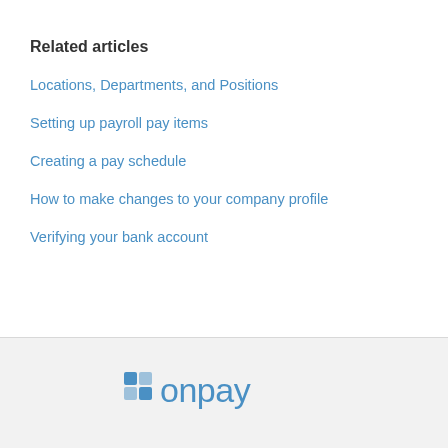Related articles
Locations, Departments, and Positions
Setting up payroll pay items
Creating a pay schedule
How to make changes to your company profile
Verifying your bank account
[Figure (logo): OnPay logo with colored squares icon and stylized text]